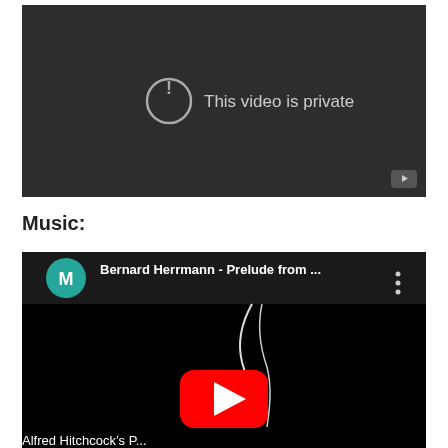[Figure (screenshot): YouTube video embed showing 'This video is private' message with an exclamation mark icon in a circle on a dark gray background. A small YouTube play button icon is visible in the bottom right corner.]
Music:
[Figure (screenshot): YouTube video thumbnail showing 'Bernard Herrmann - Prelude from ...' with a teal circle avatar with letter M, three-dot menu icon, YouTube play button overlay on a black background with a violin/string instrument image. Bottom text partially visible: Alfred Hitchcock's P...]